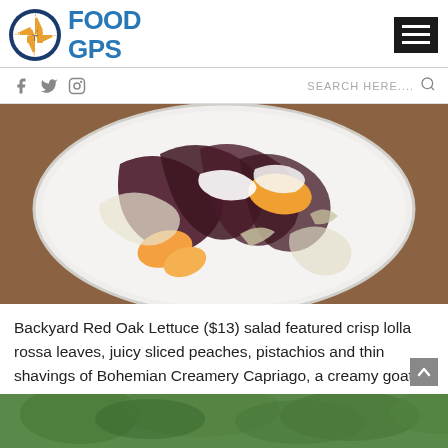[Figure (logo): Food GPS logo with compass circle icon and blue FOOD GPS text]
[Figure (photo): A white plate with Backyard Red Oak Lettuce salad featuring lolla rossa leaves, sliced peaches, and thin shavings of cheese on a wooden table]
Backyard Red Oak Lettuce ($13) salad featured crisp lolla rossa leaves, juicy sliced peaches, pistachios and thin shavings of Bohemian Creamery Capriago, a creamy goat's milk cheese along the lines of Asiago.
[Figure (photo): Bottom strip of an outdoor dining photo with green foliage]